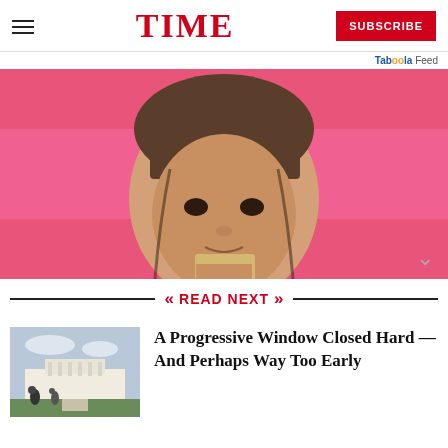TIME — SUBSCRIBE
Taboola Feed
[Figure (photo): Close-up portrait of a young woman with dark hair and bangs, holding a tan/cream colored card near her mouth, against a pink background]
READ NEXT
[Figure (photo): Small thumbnail image of the White House with people in the foreground]
A Progressive Window Closed Hard — And Perhaps Way Too Early